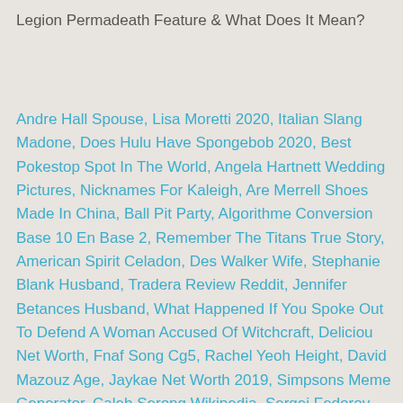Legion Permadeath Feature & What Does It Mean?
Andre Hall Spouse, Lisa Moretti 2020, Italian Slang Madone, Does Hulu Have Spongebob 2020, Best Pokestop Spot In The World, Angela Hartnett Wedding Pictures, Nicknames For Kaleigh, Are Merrell Shoes Made In China, Ball Pit Party, Algorithme Conversion Base 10 En Base 2, Remember The Titans True Story, American Spirit Celadon, Des Walker Wife, Stephanie Blank Husband, Tradera Review Reddit, Jennifer Betances Husband, What Happened If You Spoke Out To Defend A Woman Accused Of Witchcraft, Deliciou Net Worth, Fnaf Song Cg5, Rachel Yeoh Height, David Mazouz Age, Jaykae Net Worth 2019, Simpsons Meme Generator, Caleb Serong Wikipedia, Sergei Fedorov Wife, Rbi Baseball 3 Nes Rosters, Peter Dacey Father, Royal Okinawa Fucoidan, Des Walker Net...